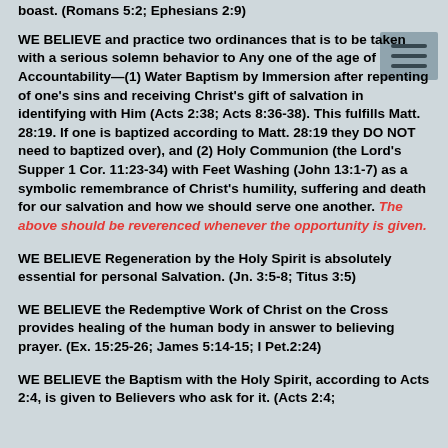boast. (Romans 5:2; Ephesians 2:9)
WE BELIEVE and practice two ordinances that is to be taken with a serious solemn behavior to Any one of the age of Accountability—(1) Water Baptism by Immersion after repenting of one's sins and receiving Christ's gift of salvation in identifying with Him (Acts 2:38; Acts 8:36-38). This fulfills Matt. 28:19. If one is baptized according to Matt. 28:19 they DO NOT need to baptized over), and (2) Holy Communion (the Lord's Supper 1 Cor. 11:23-34) with Feet Washing (John 13:1-7) as a symbolic remembrance of Christ's humility, suffering and death for our salvation and how we should serve one another. The above should be reverenced whenever the opportunity is given.
WE BELIEVE Regeneration by the Holy Spirit is absolutely essential for personal Salvation. (Jn. 3:5-8; Titus 3:5)
WE BELIEVE the Redemptive Work of Christ on the Cross provides healing of the human body in answer to believing prayer. (Ex. 15:25-26; James 5:14-15; I Pet.2:24)
WE BELIEVE the Baptism with the Holy Spirit, according to Acts 2:4, is given to Believers who ask for it. (Acts 2:4;